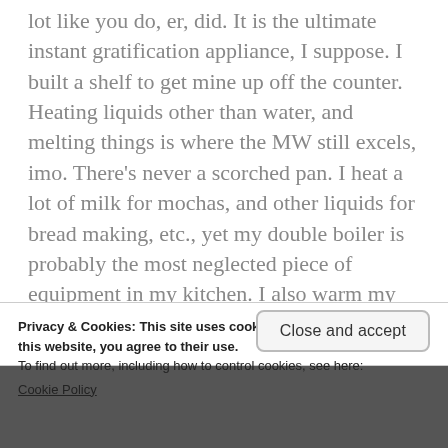lot like you do, er, did. It is the ultimate instant gratification appliance, I suppose. I built a shelf to get mine up off the counter. Heating liquids other than water, and melting things is where the MW still excels, imo. There's never a scorched pan. I heat a lot of milk for mochas, and other liquids for bread making, etc., yet my double boiler is probably the most neglected piece of equipment in my kitchen. I also warm my cups of coffee in the MW during the day. I do opt for the hot water kettle, air fryer and pressure cooker more these days; all of which
Privacy & Cookies: This site uses cookies. By continuing to use this website, you agree to their use.
To find out more, including how to control cookies, see here:
Cookie Policy
Close and accept